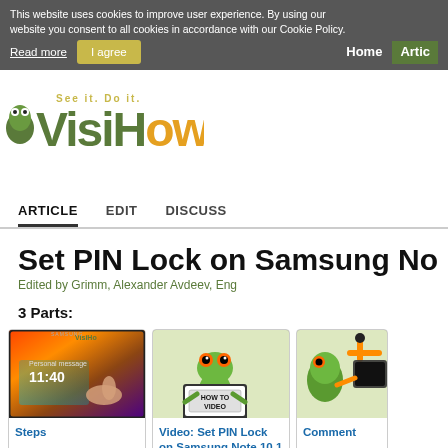VisiHow — See it. Do it.
This website uses cookies to improve user experience. By using our website you consent to all cookies in accordance with our Cookie Policy.
Read more | I agree | Home | Articles
ARTICLE  EDIT  DISCUSS
Set PIN Lock on Samsung No…
Edited by Grimm, Alexander Avdeev, Eng
3 Parts:
[Figure (screenshot): Samsung tablet showing lock screen with time 11:40 and 'Personal message', hand touching screen. VisiHow watermark.]
Steps
[Figure (illustration): Green frog character holding a laptop showing HOW TO VIDEO text.]
Video: Set PIN Lock on Samsung Note 10.1
[Figure (illustration): Green frog character with equipment, partially visible.]
Comments
You're watching VisiHow. In the video tutorial, we are going…